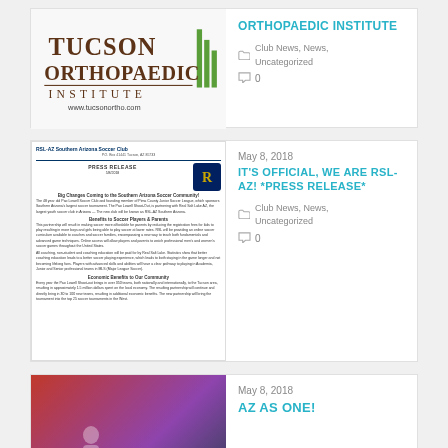[Figure (logo): Tucson Orthopaedic Institute logo with text and www.tucsonortho.com]
ORTHOPAEDIC INSTITUTE
Club News,  News,  Uncategorized
0
May 8, 2018
IT'S OFFICIAL, WE ARE RSL-AZ! *PRESS RELEASE*
[Figure (screenshot): RSL-AZ Southern Arizona Soccer Club press release document]
Club News,  News,  Uncategorized
0
May 8, 2018
AZ AS ONE!
[Figure (photo): RSL-AZ Tucson branded image with red/purple background and player silhouettes]